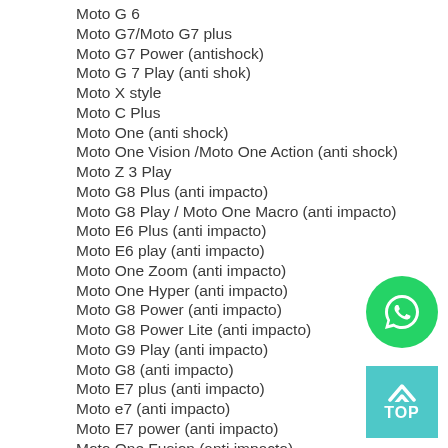Moto G 6
Moto G7/Moto G7 plus
Moto G7 Power (antishock)
Moto G 7 Play (anti shok)
Moto X style
Moto C Plus
Moto One (anti shock)
Moto One Vision /Moto One Action (anti shock)
Moto Z 3 Play
Moto G8 Plus (anti impacto)
Moto G8 Play / Moto One Macro (anti impacto)
Moto E6 Plus (anti impacto)
Moto E6 play (anti impacto)
Moto One Zoom (anti impacto)
Moto One Hyper (anti impacto)
Moto G8 Power (anti impacto)
Moto G8 Power Lite (anti impacto)
Moto G9 Play (anti impacto)
Moto G8 (anti impacto)
Moto E7 plus (anti impacto)
Moto e7 (anti impacto)
Moto E7 power (anti impacto)
Moto One Fusion (anti impacto)
Moto E6s/Moto E6i(anti impacto)
Moto One Fusion Plus (anti impacto)
Moto G9 Plus (anti impacto)